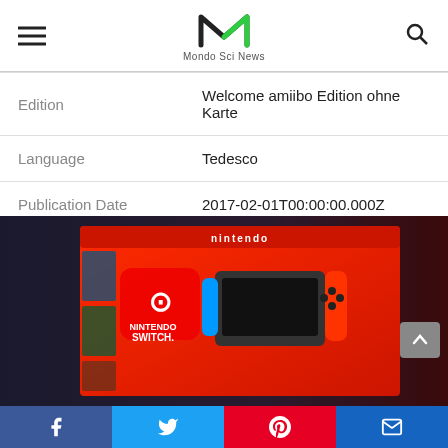Mondo Sci News
| Edition | Welcome amiibo Edition ohne Karte |
| Language | Tedesco |
| Publication Date | 2017-02-01T00:00:00.000Z |
[Figure (photo): Nintendo Switch console product box showing the gaming console with blue and red Joy-Con controllers, red packaging with Nintendo branding]
Social share bar: Facebook, Twitter, Pinterest, Email